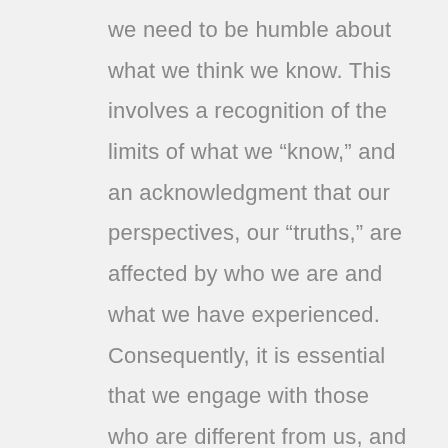we need to be humble about what we think we know. This involves a recognition of the limits of what we “know,” and an acknowledgment that our perspectives, our “truths,” are affected by who we are and what we have experienced. Consequently, it is essential that we engage with those who are different from us, and in an attitude of openness and receptivity.  This is especially important in the current polarized